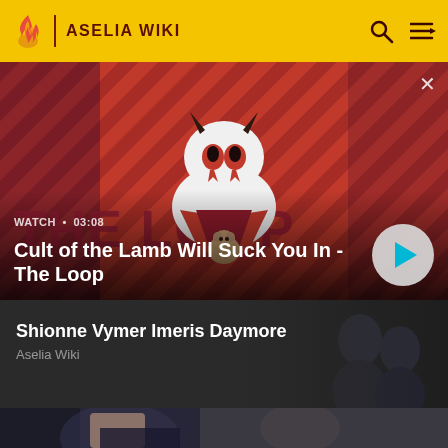ASELIA WIKI
[Figure (screenshot): Video thumbnail for 'Cult of the Lamb Will Suck You In - The Loop' showing an animated lamb character on a red and dark striped background with THE LOOP text overlay. Includes WATCH • 03:08 label and a play button.]
WATCH • 03:08
Cult of the Lamb Will Suck You In - The Loop
[Figure (screenshot): Article card for 'Shionne Vymer Imeris Daymore' on Aselia Wiki showing anime character art on dark background.]
Shionne Vymer Imeris Daymore
Aselia Wiki
[Figure (screenshot): Partial teaser image at bottom showing anime character art.]